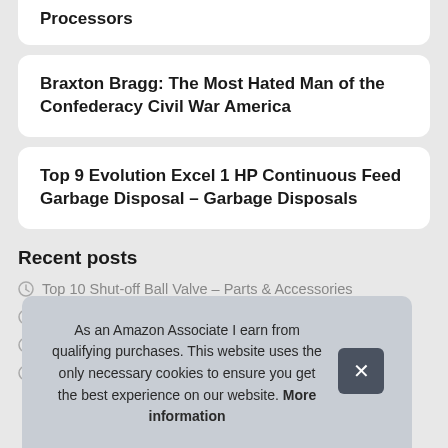Processors
Braxton Bragg: The Most Hated Man of the Confederacy Civil War America
Top 9 Evolution Excel 1 HP Continuous Feed Garbage Disposal – Garbage Disposals
Recent posts
Top 10 Shut-off Ball Valve – Parts & Accessories
T
T
T
As an Amazon Associate I earn from qualifying purchases. This website uses the only necessary cookies to ensure you get the best experience on our website. More information